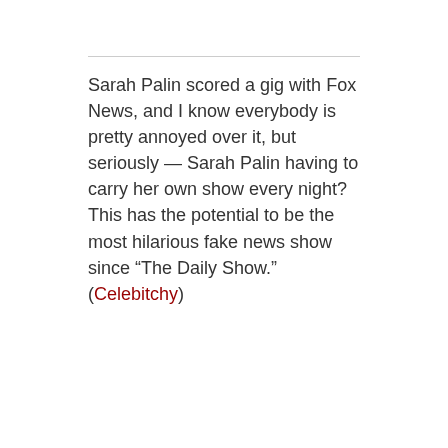Sarah Palin scored a gig with Fox News, and I know everybody is pretty annoyed over it, but seriously — Sarah Palin having to carry her own show every night? This has the potential to be the most hilarious fake news show since “The Daily Show.” (Celebitchy)